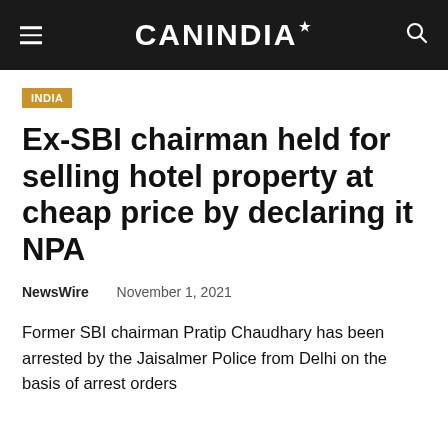CANINDIA
INDIA
Ex-SBI chairman held for selling hotel property at cheap price by declaring it NPA
NewsWire   November 1, 2021
Former SBI chairman Pratip Chaudhary has been arrested by the Jaisalmer Police from Delhi on the basis of arrest orders